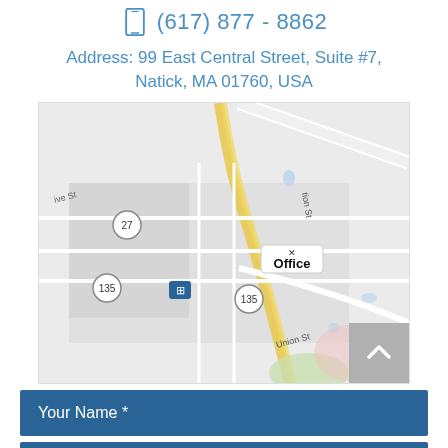(617) 877 - 8862
Address: 99 East Central Street, Suite #7, Natick, MA 01760, USA
[Figure (map): Google Maps view of Natick, MA showing office location marker labeled 'Office' near Union St and route 135/27 intersection]
Your Name *
Your Email *